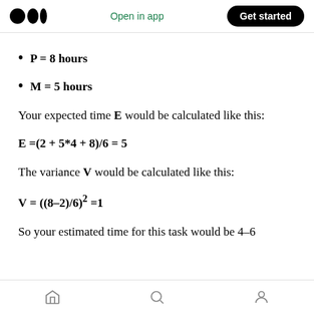Open in app | Get started
P = 8 hours
M = 5 hours
Your expected time E would be calculated like this:
The variance V would be calculated like this:
So your estimated time for this task would be 4–6
Home | Search | Profile